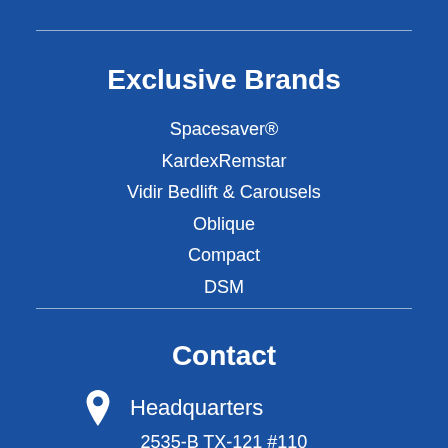Exclusive Brands
Spacesaver®
KardexRemstar
Vidir Bedlift & Carousels
Oblique
Compact
DSM
Contact
Headquarters
2535-B TX-121 #110